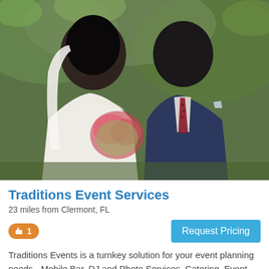[Figure (photo): Wedding photo of a bride in white strapless gown holding a floral bouquet and groom in navy suit with burgundy tie, posed outdoors with green foliage background]
Traditions Event Services
23 miles from Clermont, FL
👍 1
Request Pricing
Traditions Events is a turnkey solution for your event planning needs - Mobile Bar, DJ and Photo Services, Catering, Event Planning and more. Contact us for some great all inclusive deals that can not be beat!
[Figure (photo): Outdoor venue or landscape photo showing trees and open grounds, partially visible at bottom of page]